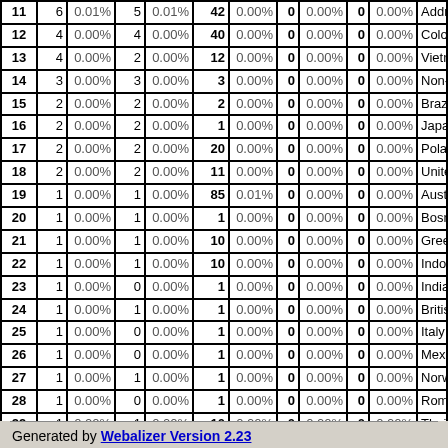| # | N1 | %1 | N2 | %2 | N3 | %3 | N4 | %4 | N5 | %5 | Name |
| --- | --- | --- | --- | --- | --- | --- | --- | --- | --- | --- | --- |
| 11 | 6 | 0.01% | 5 | 0.01% | 42 | 0.00% | 0 | 0.00% | 0 | 0.00% | Address Routing (… |
| 12 | 4 | 0.00% | 4 | 0.00% | 40 | 0.00% | 0 | 0.00% | 0 | 0.00% | Colombia |
| 13 | 4 | 0.00% | 2 | 0.00% | 12 | 0.00% | 0 | 0.00% | 0 | 0.00% | Vietnam |
| 14 | 3 | 0.00% | 3 | 0.00% | 3 | 0.00% | 0 | 0.00% | 0 | 0.00% | Non-Profit (org) |
| 15 | 2 | 0.00% | 2 | 0.00% | 2 | 0.00% | 0 | 0.00% | 0 | 0.00% | Brazil |
| 16 | 2 | 0.00% | 2 | 0.00% | 1 | 0.00% | 0 | 0.00% | 0 | 0.00% | Japan |
| 17 | 2 | 0.00% | 2 | 0.00% | 20 | 0.00% | 0 | 0.00% | 0 | 0.00% | Poland |
| 18 | 2 | 0.00% | 2 | 0.00% | 11 | 0.00% | 0 | 0.00% | 0 | 0.00% | United Kingdom |
| 19 | 1 | 0.00% | 1 | 0.00% | 85 | 0.01% | 0 | 0.00% | 0 | 0.00% | Austria |
| 20 | 1 | 0.00% | 1 | 0.00% | 1 | 0.00% | 0 | 0.00% | 0 | 0.00% | Bosnia and Herze… |
| 21 | 1 | 0.00% | 1 | 0.00% | 10 | 0.00% | 0 | 0.00% | 0 | 0.00% | Greece |
| 22 | 1 | 0.00% | 1 | 0.00% | 10 | 0.00% | 0 | 0.00% | 0 | 0.00% | Indonesia |
| 23 | 1 | 0.00% | 0 | 0.00% | 1 | 0.00% | 0 | 0.00% | 0 | 0.00% | India |
| 24 | 1 | 0.00% | 1 | 0.00% | 1 | 0.00% | 0 | 0.00% | 0 | 0.00% | British Indian Oce… |
| 25 | 1 | 0.00% | 0 | 0.00% | 1 | 0.00% | 0 | 0.00% | 0 | 0.00% | Italy |
| 26 | 1 | 0.00% | 0 | 0.00% | 1 | 0.00% | 0 | 0.00% | 0 | 0.00% | Mexico |
| 27 | 1 | 0.00% | 1 | 0.00% | 1 | 0.00% | 0 | 0.00% | 0 | 0.00% | Norway |
| 28 | 1 | 0.00% | 0 | 0.00% | 1 | 0.00% | 0 | 0.00% | 0 | 0.00% | Romania |
| 29 | 1 | 0.00% | 1 | 0.00% | 10 | 0.00% | 0 | 0.00% | 0 | 0.00% | Thailand |
Generated by Webalizer Version 2.23